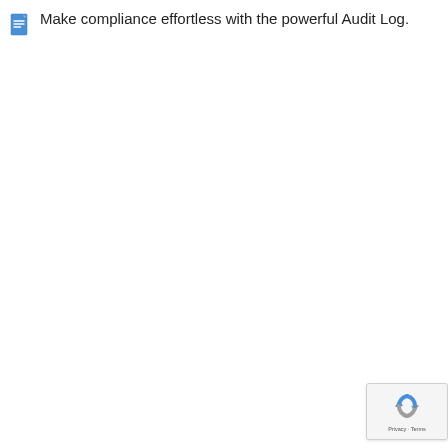Make compliance effortless with the powerful Audit Log.
[Figure (logo): reCAPTCHA logo with circular arrows icon, Privacy and Terms text below]